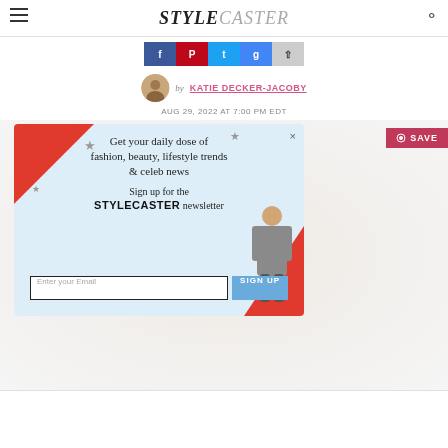STYLECASTER
[Figure (screenshot): Social sharing buttons: Facebook, Pinterest, Twitter, Google+, Share]
by KATIE DECKER-JACOBY
AUG 29, 2022 AT 7:00 PM EDT
[Figure (infographic): Newsletter signup popup overlay with text: Get your daily dose of fashion, beauty, lifestyle trends & celeb news. Sign up for the STYLECASTER newsletter. Email input field and SIGN UP button. Red corner decorations and star graphics. Model photo on right side.]
-->
[Figure (screenshot): BitLife advertisement banner with colorful emoji characters on red background]